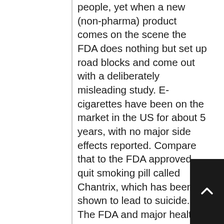people, yet when a new (non-pharma) product comes on the scene the FDA does nothing but set up road blocks and come out with a deliberately misleading study. E-cigarettes have been on the market in the US for about 5 years, with no major side effects reported. Compare that to the FDA approved quit smoking pill called Chantrix, which has been shown to lead to suicide. The FDA and major health organizations (who also just happen to have connections to pharma) repeatedly complain about the supposed lack of studies. Yet they have had 5 years to perform as many studies as they like, and have chosen not to.